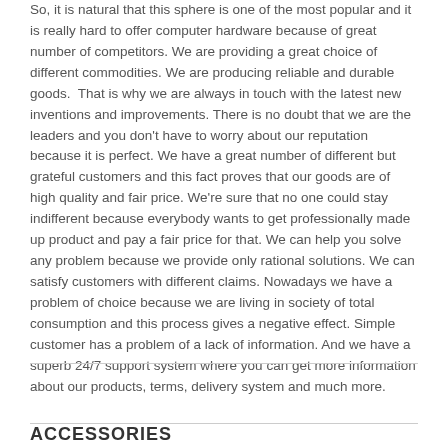So, it is natural that this sphere is one of the most popular and it is really hard to offer computer hardware because of great number of competitors. We are providing a great choice of different commodities. We are producing reliable and durable goods.  That is why we are always in touch with the latest new inventions and improvements. There is no doubt that we are the leaders and you don't have to worry about our reputation because it is perfect. We have a great number of different but grateful customers and this fact proves that our goods are of high quality and fair price. We're sure that no one could stay indifferent because everybody wants to get professionally made up product and pay a fair price for that. We can help you solve any problem because we provide only rational solutions. We can satisfy customers with different claims. Nowadays we have a problem of choice because we are living in society of total consumption and this process gives a negative effect. Simple customer has a problem of a lack of information. And we have a superb 24/7 support system where you can get more information about our products, terms, delivery system and much more.
ACCESSORIES